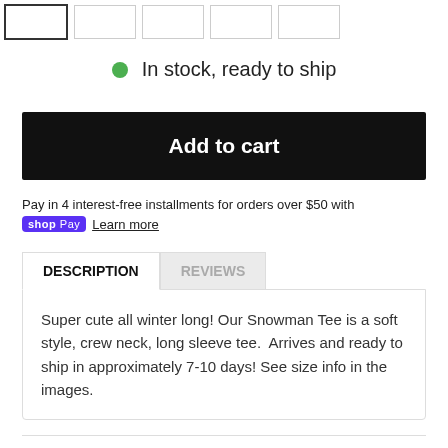[Figure (other): Row of product thumbnail images, first one with active border]
In stock, ready to ship
Add to cart
Pay in 4 interest-free installments for orders over $50 with shop Pay Learn more
DESCRIPTION
REVIEWS
Super cute all winter long! Our Snowman Tee is a soft style, crew neck, long sleeve tee.  Arrives and ready to ship in approximately 7-10 days! See size info in the images.